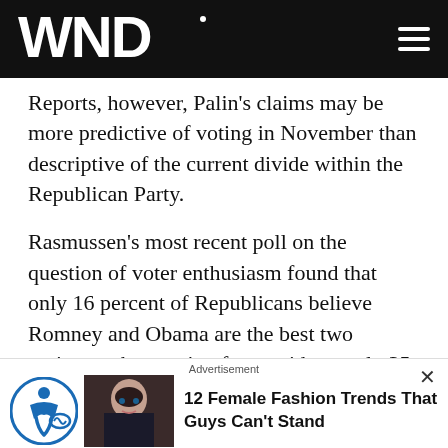WND
Reports, however, Palin's claims may be more predictive of voting in November than descriptive of the current divide within the Republican Party.
Rasmussen's most recent poll on the question of voter enthusiasm found that only 16 percent of Republicans believe Romney and Obama are the best two options to be running for president, only 35 percent will affirm excitement about the match-up and a sobering 46 percent of all voters believe they "will simply be voting for the lesser of two evils this November."
Now at the current divide...
Advertisement
12 Female Fashion Trends That Guys Can't Stand